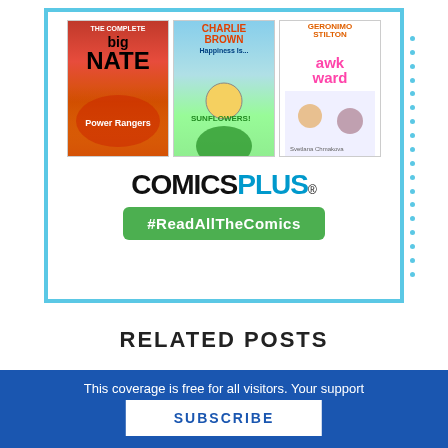[Figure (illustration): Comics Plus advertisement showing book covers (The Complete Big Nate, Charlie Brown, Geronimo Stilton, awkward), the COMICSPLUS logo, and a green button reading #ReadAllTheComics]
RELATED POSTS
This coverage is free for all visitors. Your support makes this possible.
SUBSCRIBE